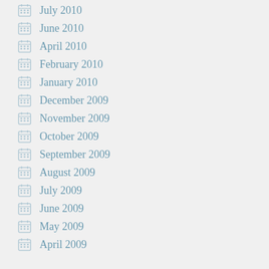July 2010
June 2010
April 2010
February 2010
January 2010
December 2009
November 2009
October 2009
September 2009
August 2009
July 2009
June 2009
May 2009
April 2009